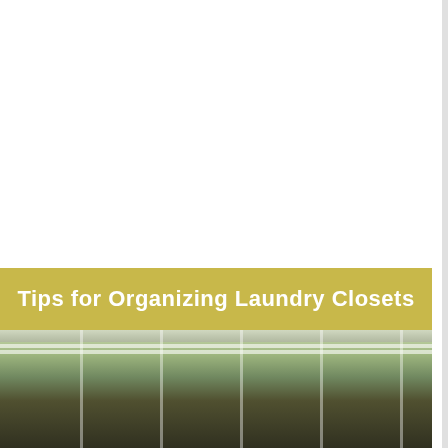Tips for Organizing Laundry Closets
[Figure (photo): Photo of a laundry closet organizer with white wire shelving system, showing organized storage with green items visible at the bottom.]